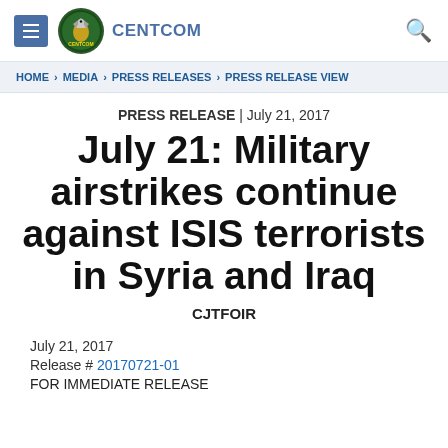CENTCOM
HOME > MEDIA > PRESS RELEASES > PRESS RELEASE VIEW
PRESS RELEASE | July 21, 2017
July 21: Military airstrikes continue against ISIS terrorists in Syria and Iraq
CJTFOIR
July 21, 2017
Release # 20170721-01
FOR IMMEDIATE RELEASE